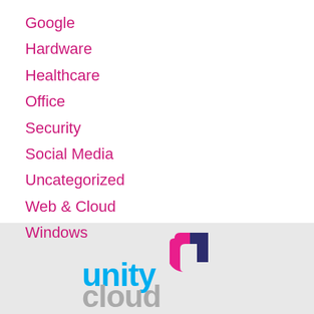Google
Hardware
Healthcare
Office
Security
Social Media
Uncategorized
Web & Cloud
Windows
[Figure (logo): Unity Cloud logo — 'unity' in cyan/blue and 'cloud' in gray, with a stylized square icon in pink/magenta and dark blue/navy]